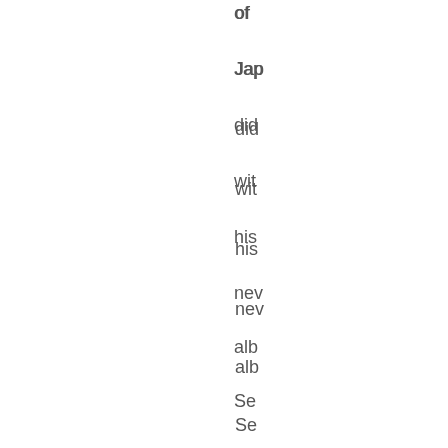of
Jap
did
wit
his
new
alb
Se
cre
a
som
ba:
tre
hu
aci
Jap
Fo
the